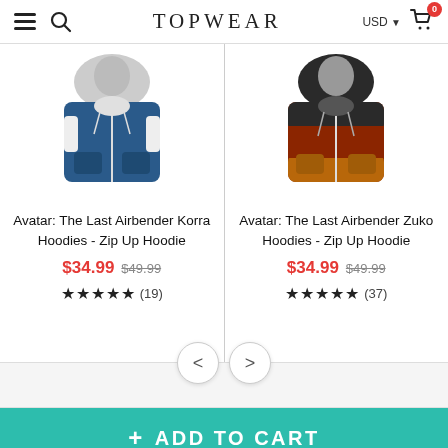TOPWEAR
[Figure (photo): Blue zip-up hoodie with white stripes - Avatar Korra design]
Avatar: The Last Airbender Korra Hoodies - Zip Up Hoodie
$34.99 $49.99
★★★★★ (19)
[Figure (photo): Red/brown zip-up hoodie - Avatar Zuko design]
Avatar: The Last Airbender Zuko Hoodies - Zip Up Hoodie
$34.99 $49.99
★★★★★ (37)
+ ADD TO CART